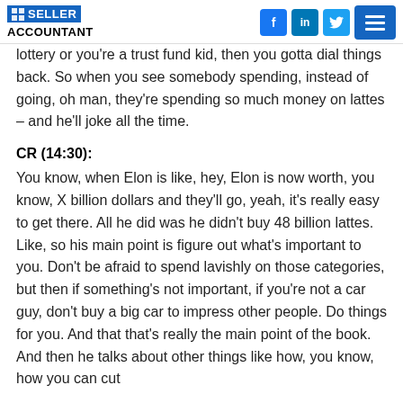[Figure (logo): Seller Accountant logo with social media icons (Facebook, LinkedIn, Twitter) and hamburger menu]
lottery or you're a trust fund kid, then you gotta dial things back. So when you see somebody spending, instead of going, oh man, they're spending so much money on lattes – and he'll joke all the time.
CR (14:30):
You know, when Elon is like, hey, Elon is now worth, you know, X billion dollars and they'll go, yeah, it's really easy to get there. All he did was he didn't buy 48 billion lattes. Like, so his main point is figure out what's important to you. Don't be afraid to spend lavishly on those categories, but then if something's not important, if you're not a car guy, don't buy a big car to impress other people. Do things for you. And that that's really the main point of the book. And then he talks about other things like how, you know, how you can cut